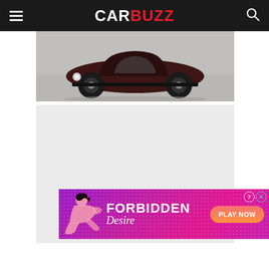CarBuzz
[Figure (photo): Hot rod / custom classic car photographed in a garage or showroom, dark maroon color, low-slung body, visible front wheels and headlights on grey/concrete floor]
[Figure (other): Light grey placeholder/content box, likely an image or ad unit loading area]
[Figure (other): Forbidden Desire advertisement banner with purple/magenta gradient background, silhouette figure of a woman, text reading FORBIDDEN Desire and PLAY NOW button]